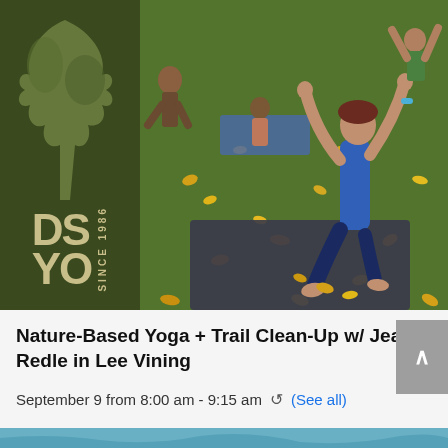[Figure (photo): Outdoor yoga class on grass covered with yellow fallen leaves. Left panel shows dark green logo background with tree silhouette and 'DS YO' letters with 'SINCE 1986' text. Right panel shows a woman in blue tank top doing yoga on a mat outdoors.]
Nature-Based Yoga + Trail Clean-Up w/ Jean Redle in Lee Vining
September 9 from 8:00 am - 9:15 am  ↺ (See all)
[Figure (photo): Bottom strip showing partial image of next event, appears to be a blue/teal colored outdoor scene.]